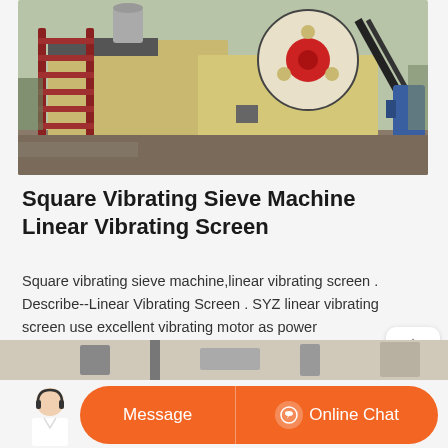[Figure (photo): Outdoor industrial jaw crusher or screening machine with red metal staircase/ladder on the left, large red and cream-colored flywheel visible, yellow/aged metal body, blue motor at right, set on rocky ground with bare trees in background]
Square Vibrating Sieve Machine Linear Vibrating Screen
Square vibrating sieve machine,linear vibrating screen . Describe-- Linear Vibrating Screen . SYZ linear vibrating screen use excellent vibrating motor as power source,that the materials can be thrown up on the sieve and forward to make a straight movement.It can be equipped with single or multi-screen to achieve the grading, removing impurity, removing dust, testing,
[Figure (photo): Partial view of industrial vibrating screen machinery at the bottom of the page, partially cut off]
[Figure (screenshot): Chat support bar with orange rounded rectangle containing 'Message' button on left and 'Online Chat' button with headset icon on right; customer service person image on far left]